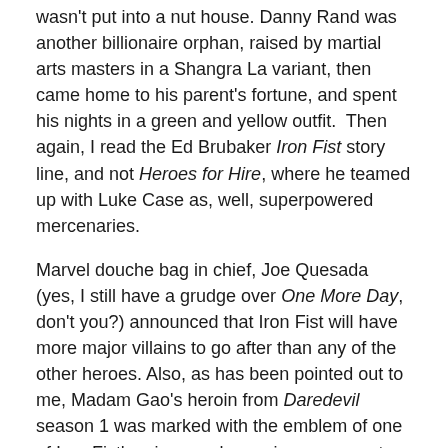wasn't put into a nut house. Danny Rand was another billionaire orphan, raised by martial arts masters in a Shangra La variant, then came home to his parent's fortune, and spent his nights in a green and yellow outfit. Then again, I read the Ed Brubaker Iron Fist story line, and not Heroes for Hire, where he teamed up with Luke Case as, well, superpowered mercenaries.
Marvel douche bag in chief, Joe Quesada (yes, I still have a grudge over One More Day, don't you?) announced that Iron Fist will have more major villains to go after than any of the other heroes. Also, as has been pointed out to me, Madam Gao's heroin from Daredevil season 1 was marked with the emblem of one of Iron Fist's primary adversaries, so expect Gao to show up
Ah, but what about The Defenders?